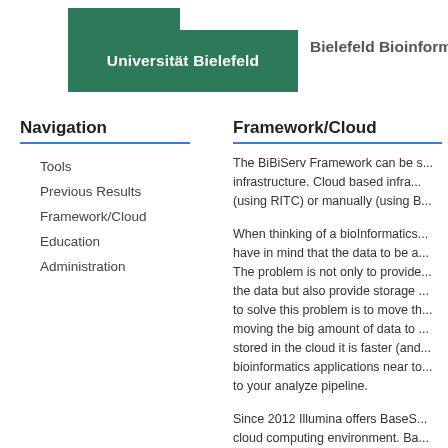[Figure (logo): Universität Bielefeld logo with green banner and Bielefeld Bioinformatics S... text]
Navigation
Tools
Previous Results
Framework/Cloud
Education
Administration
Framework/Cloud
The BiBiServ Framework can be s... infrastructure. Cloud based infra... (using RITC) or manually (using B...
When thinking of a bioInformatics... have in mind that the data to be a... The problem is not only to provide... the data but also provide storage ... to solve this problem is to move th... moving the big amount of data to ... stored in the cloud it is faster (and... bioinformatics applications near to... to your analyze pipeline.
Since 2012 Illumina offers BaseS... cloud computing environment. Ba... applications (with limitation to com... data stored. BaseSpace is now...